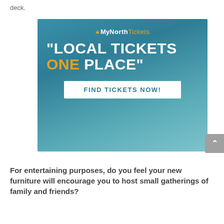deck.
[Figure (illustration): MyNorthTickets advertisement banner with teal/blue gradient background. Shows MyNorth Tickets logo with gold triangle, large white bold text reading "LOCAL TICKETS ONE PLACE" with ONE in orange, and a white button reading FIND TICKETS NOW!]
For entertaining purposes, do you feel your new furniture will encourage you to host small gatherings of family and friends?